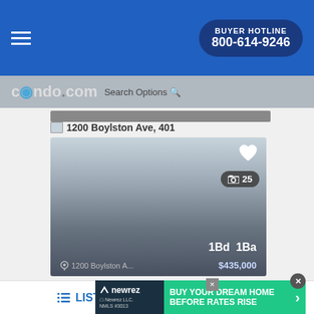BUYER HOTLINE 800-614-9246
[Figure (screenshot): condo.com logo with blue water drop]
Search Options
1200 Boylston Ave, 401
[Figure (photo): Listing photo placeholder with gradient, heart icon, photo count badge showing 25, 1Bd 1Ba, $435,000, 1200 Boylston A...]
1Bd  1Ba
$435,000
LIST
MAP
[Figure (infographic): newrez ad banner: BUY YOUR DREAM HOME BEFORE RATES RISE]